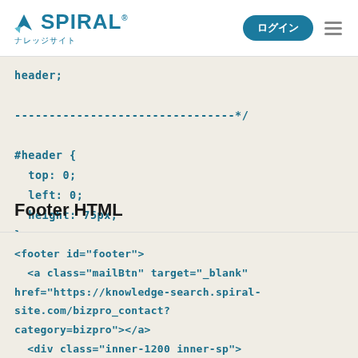[Figure (logo): SPIRAL ナレッジサイト logo with teal color and arrow icon]
ログイン
header;
--------------------------------*/
#header {
  top: 0;
  left: 0;
  height: 75px;
}
Footer HTML
<footer id="footer">
  <a class="mailBtn" target="_blank"
href="https://knowledge-search.spiral-site.com/bizpro_contact?
category=bizpro"></a>
  <div class="inner-1200 inner-sp">